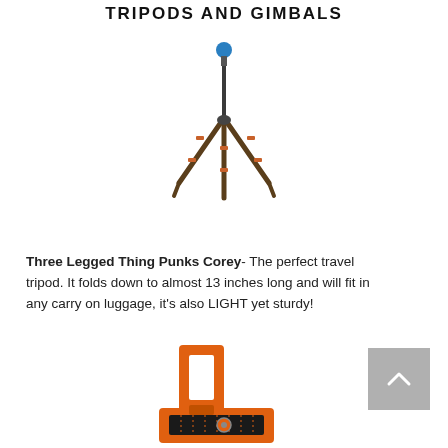TRIPODS AND GIMBALS
[Figure (photo): A carbon fiber travel tripod with blue ball head, three legs spread open, standing upright]
Three Legged Thing Punks Corey- The perfect travel tripod. It folds down to almost 13 inches long and will fit in any carry on luggage, it's also LIGHT yet sturdy!
[Figure (photo): An orange L-bracket camera plate accessory with textured grip surface on a white background]